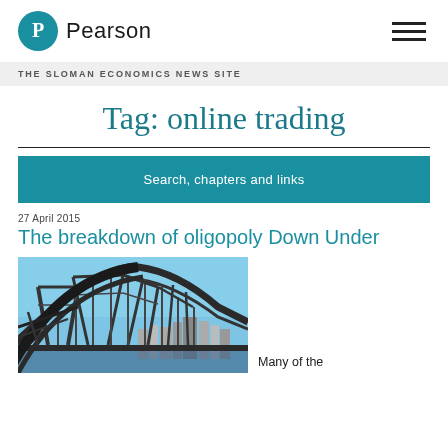Pearson
THE SLOMAN ECONOMICS NEWS SITE
Tag: online trading
Search, chapters and links
27 April 2015
The breakdown of oligopoly Down Under
[Figure (photo): Photograph of the Sydney Harbour Bridge with city skyline in the background against a blue sky]
Many of the